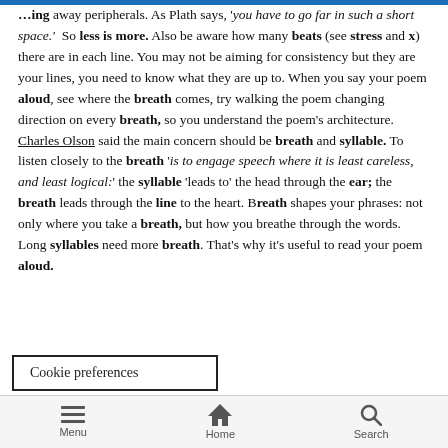...thing away peripherals. As Plath says, 'you have to go far in such a short space.' So less is more. Also be aware how many beats (see stress and x) there are in each line. You may not be aiming for consistency but they are your lines, you need to know what they are up to. When you say your poem aloud, see where the breath comes, try walking the poem changing direction on every breath, so you understand the poem's architecture. Charles Olson said the main concern should be breath and syllable. To listen closely to the breath 'is to engage speech where it is least careless, and least logical:' the syllable 'leads to' the head through the ear; the breath leads through the line to the heart. Breath shapes your phrases: not only where you take a breath, but how you breathe through the words. Long syllables need more breath. That's why it's useful to read your poem aloud.
Cookie preferences
...out craftsmanship, inspiration is a reed
Menu  Home  Search